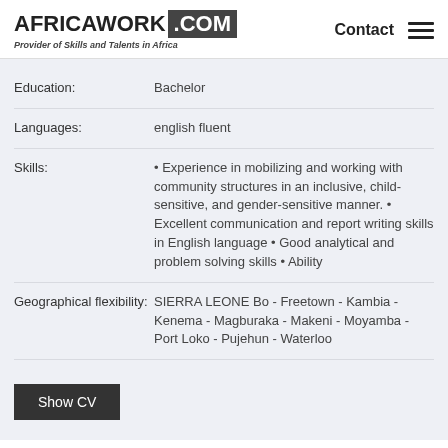AFRICAWORK .COM Provider of Skills and Talents in Africa | Contact
Education: Bachelor
Languages: english fluent
Skills: • Experience in mobilizing and working with community structures in an inclusive, child-sensitive, and gender-sensitive manner. • Excellent communication and report writing skills in English language • Good analytical and problem solving skills • Ability
Geographical flexibility: SIERRA LEONE Bo - Freetown - Kambia - Kenema - Magburaka - Makeni - Moyamba - Port Loko - Pujehun - Waterloo
Show CV